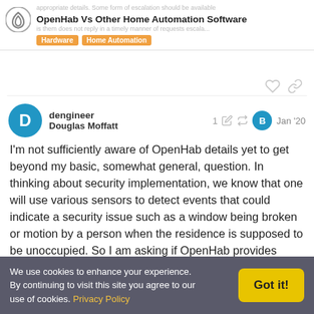OpenHab Vs Other Home Automation Software | Hardware, Home Automation
appropriate details. Some form of escalation should be available is them does not reply in a timely manner of requests escala...
dengineer
Douglas Moffatt
1 Jan '20
I'm not sufficiently aware of OpenHab details yet to get beyond my basic, somewhat general, question. In thinking about security implementation, we know that one will use various sensors to detect events that could indicate a security issue such as a window being broken or motion by a person when the residence is supposed to be unoccupied. So I am asking if OpenHab provides function that can recognize failure of a sensor connecting network such as Zigbee as an event. What
We use cookies to enhance your experience. By continuing to visit this site you agree to our use of cookies. Privacy Policy
Got it!